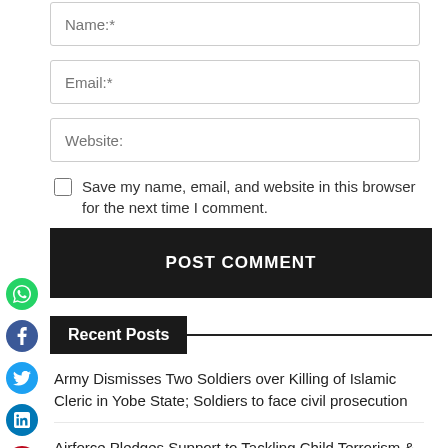Name:*
Email:*
Website:
Save my name, email, and website in this browser for the next time I comment.
POST COMMENT
Recent Posts
Army Dismisses Two Soldiers over Killing of Islamic Cleric in Yobe State; Soldiers to face civil prosecution
Airforce Pledges Support to Tackling Child Terrorism & Exploitation in Nigeria